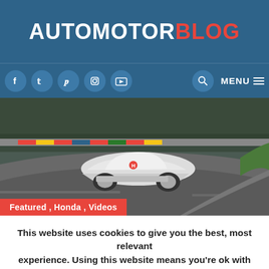AUTOMOTORBLOG
[Figure (screenshot): Navigation bar with social media icons (Facebook, Twitter, Pinterest, Instagram, YouTube), search icon, and MENU button on dark blue background]
[Figure (photo): White Honda Civic Type R driving on the Nurburgring racetrack with colorful barriers in background]
Featured , Honda , Videos
This website uses cookies to give you the best, most relevant experience. Using this website means you're ok with this.
Accept  Read More